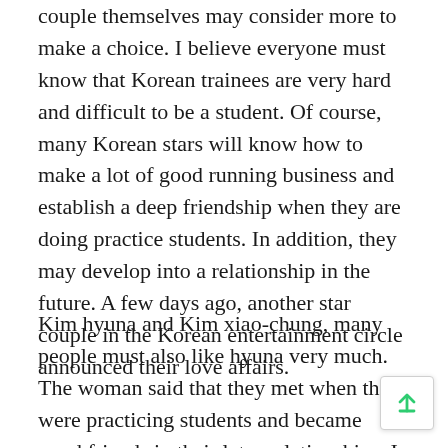couple themselves may consider more to make a choice. I believe everyone must know that Korean trainees are very hard and difficult to be a student. Of course, many Korean stars will know how to make a lot of good running business and establish a deep friendship when they are doing practice students. In addition, they may develop into a relationship in the future. A few days ago, another star couple in the Korean entertainment circle announced their love affairs.
Kim hyuna and Kim xiao-chung, many people must also like hyuna very much. The woman said that they met when they were practicing students and became good friends in their later relationships. In music creation and other aspects, the other party helped a lot, and the two gradually developed feelings and stayed together.No together although both were released to you, is together